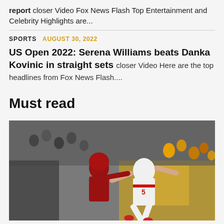report  closer Video Fox News Flash Top Entertainment and Celebrity Highlights are...
SPORTS  AUGUST 30, 2022
US Open 2022: Serena Williams beats Danka Kovinic in straight sets
closer Video Here are the top headlines from Fox News Flash....
Must read
[Figure (photo): Action photo of a football player in white jersey number 5 catching or reaching for a ball, with a defender in red jersey, and a crowd in the background]